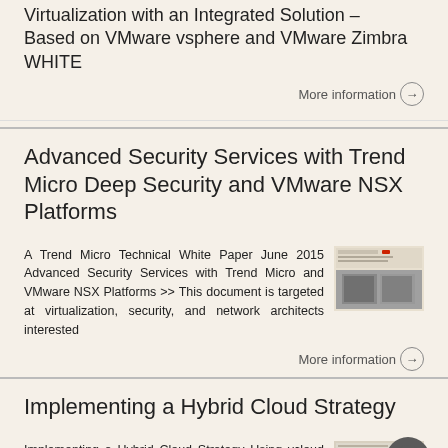Virtualization with an Integrated Solution – Based on VMware vsphere and VMware Zimbra WHITE
More information →
Advanced Security Services with Trend Micro Deep Security and VMware NSX Platforms
A Trend Micro Technical White Paper June 2015 Advanced Security Services with Trend Micro and VMware NSX Platforms >> This document is targeted at virtualization, security, and network architects interested
More information →
Implementing a Hybrid Cloud Strategy
Implementing a Hybrid Cloud Strategy Using vcloud Air, VMware NSX and vrealize Automation TECHNICAL WHITE PAPER